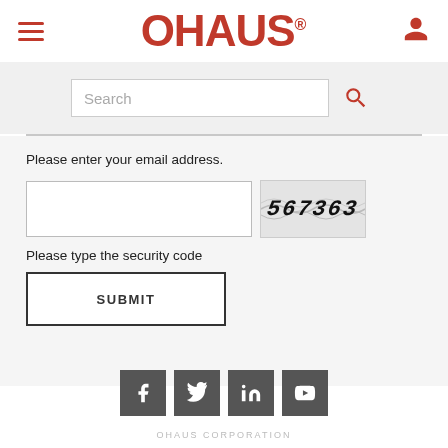[Figure (logo): OHAUS logo in red with registered trademark symbol]
[Figure (screenshot): Search bar with placeholder text 'Search' and red search icon]
Please enter your email address.
[Figure (screenshot): Email input field and CAPTCHA image showing '567363']
Please type the security code
[Figure (screenshot): SUBMIT button]
[Figure (infographic): Social media icons: Facebook, Twitter, LinkedIn, YouTube]
OHAUS CORPORATION